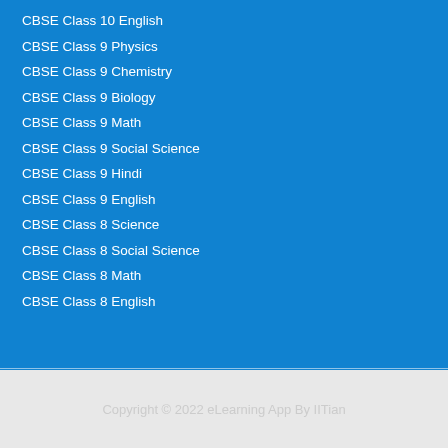CBSE Class 10 English
CBSE Class 9 Physics
CBSE Class 9 Chemistry
CBSE Class 9 Biology
CBSE Class 9 Math
CBSE Class 9 Social Science
CBSE Class 9 Hindi
CBSE Class 9 English
CBSE Class 8 Science
CBSE Class 8 Social Science
CBSE Class 8 Math
CBSE Class 8 English
Copyright © 2022 eLearning App By IITian